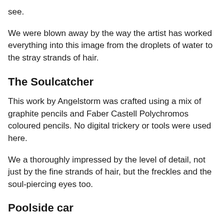see.
We were blown away by the way the artist has worked everything into this image from the droplets of water to the stray strands of hair.
The Soulcatcher
This work by Angelstorm was crafted using a mix of graphite pencils and Faber Castell Polychromos coloured pencils. No digital trickery or tools were used here.
We a thoroughly impressed by the level of detail, not just by the fine strands of hair, but the freckles and the soul-piercing eyes too.
Poolside car